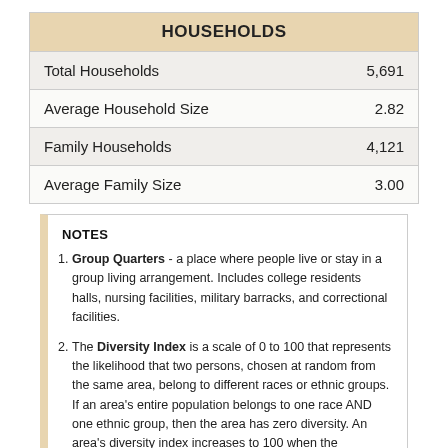|  |  |
| --- | --- |
| HOUSEHOLDS |  |
| Total Households | 5,691 |
| Average Household Size | 2.82 |
| Family Households | 4,121 |
| Average Family Size | 3.00 |
NOTES
Group Quarters - a place where people live or stay in a group living arrangement. Includes college residents halls, nursing facilities, military barracks, and correctional facilities.
The Diversity Index is a scale of 0 to 100 that represents the likelihood that two persons, chosen at random from the same area, belong to different races or ethnic groups. If an area's entire population belongs to one race AND one ethnic group, then the area has zero diversity. An area's diversity index increases to 100 when the population is evenly